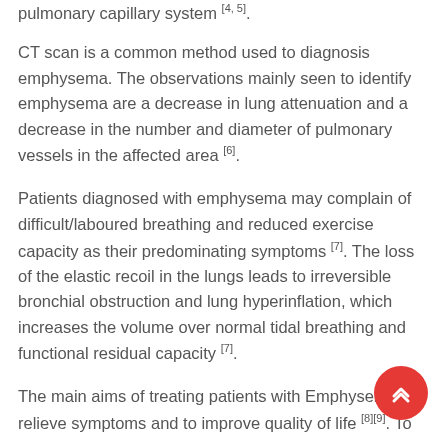pulmonary capillary system [4,5].
CT scan is a common method used to diagnosis emphysema. The observations mainly seen to identify emphysema are a decrease in lung attenuation and a decrease in the number and diameter of pulmonary vessels in the affected area [6].
Patients diagnosed with emphysema may complain of difficult/laboured breathing and reduced exercise capacity as their predominating symptoms [7]. The loss of the elastic recoil in the lungs leads to irreversible bronchial obstruction and lung hyperinflation, which increases the volume over normal tidal breathing and functional residual capacity [7].
The main aims of treating patients with Emphysema to relieve symptoms and to improve quality of life [8][9]. To